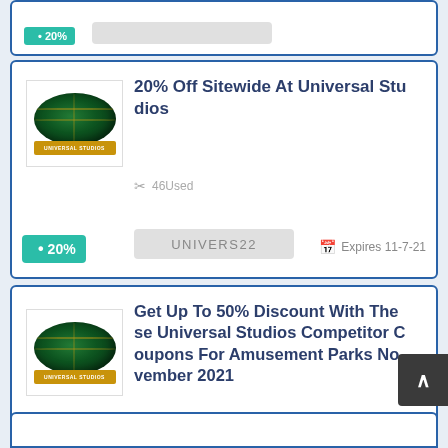[Figure (logo): Partial coupon card at top with teal badge and grey code box]
[Figure (logo): Universal Studios globe logo]
20% Off Sitewide At Universal Studios
46 Used
UNIVERS22
Expires 11-7-21
• 20%
[Figure (logo): Universal Studios globe logo]
Get Up To 50% Discount With These Universal Studios Competitor Coupons For Amusement Parks November 2021
32 Used
Get Deal
Expires 20-7
• 50%